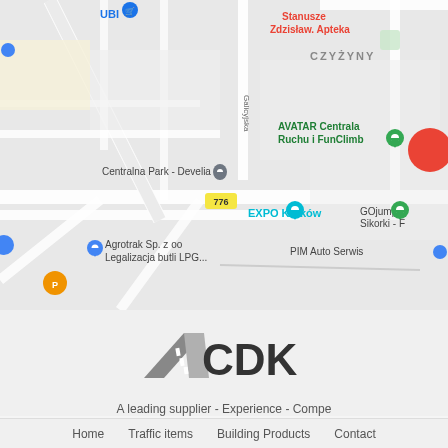[Figure (map): Google Maps screenshot showing area around EXPO Kraków, Poland. Visible landmarks include: UBI store (top left), Centralna Park - Develia, AVATAR Centrala Ruchu i FunClimb, GOjump Sikorki (partial), PIM Auto Serwis, Agrotrak Sp. z oo Legalizacja butli LPG, CZYŻYNY district label, road 776, Galicyjska street. Various map pins in blue, teal, green, red, and orange colors.]
[Figure (logo): CDK logo — stylized road/highway graphic in dark gray with white dashed center line, followed by bold black letters 'CDK']
A leading supplier - Experience - Compe
Home   Traffic items   Building Products   Contact